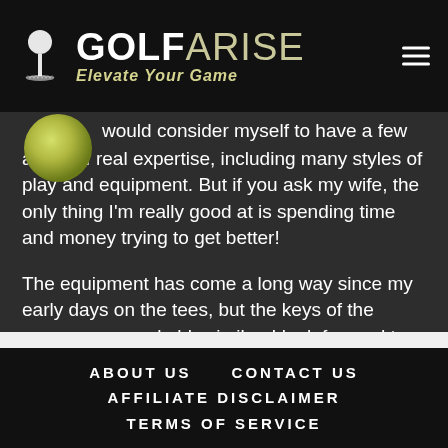GOLFARISE Elevate Your Game
would consider myself to have a few areas of real expertise, including many styles of play and equipment. But if you ask my wife, the only thing I'm really good at is spending time and money trying to get better!
The equipment has come a long way since my early days on the tees, but the keys of the game are remarkably similar. I look forward to sharing my experience with all of you.
ABOUT US   CONTACT US   AFFILIATE DISCLAIMER   TERMS OF SERVICE